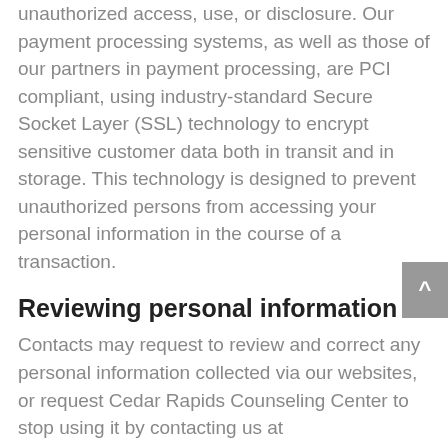unauthorized access, use, or disclosure. Our payment processing systems, as well as those of our partners in payment processing, are PCI compliant, using industry-standard Secure Socket Layer (SSL) technology to encrypt sensitive customer data both in transit and in storage. This technology is designed to prevent unauthorized persons from accessing your personal information in the course of a transaction.
Reviewing personal information
Contacts may request to review and correct any personal information collected via our websites, or request Cedar Rapids Counseling Center to stop using it by contacting us at inquiry@cedarrapidscounselingcenter.com or calling us at 319-320-7506. We may take steps to verify the identity of the person making the